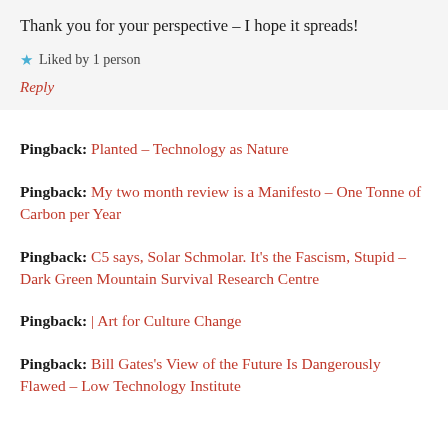Thank you for your perspective – I hope it spreads!
★ Liked by 1 person
Reply
Pingback: Planted – Technology as Nature
Pingback: My two month review is a Manifesto – One Tonne of Carbon per Year
Pingback: C5 says, Solar Schmolar. It's the Fascism, Stupid – Dark Green Mountain Survival Research Centre
Pingback: | Art for Culture Change
Pingback: Bill Gates's View of the Future Is Dangerously Flawed – Low Technology Institute